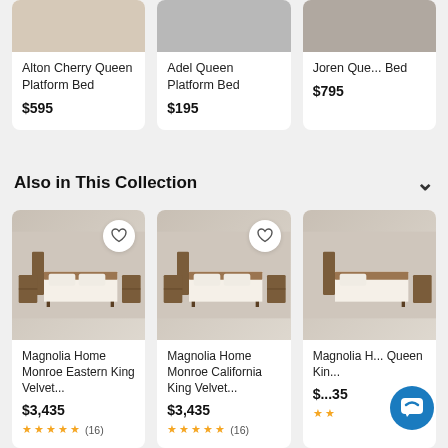[Figure (screenshot): Product listing screenshot of furniture e-commerce page showing bed products]
Alton Cherry Queen Platform Bed
$595
Adel Queen Platform Bed
$195
Joren Que... Bed
$795
Also in This Collection
Magnolia Home Monroe Eastern King Velvet...
$3,435
★★★★½ (16)
Magnolia Home Monroe California King Velvet...
$3,435
★★★★½ (16)
Magnolia H... Queen King...
$...35